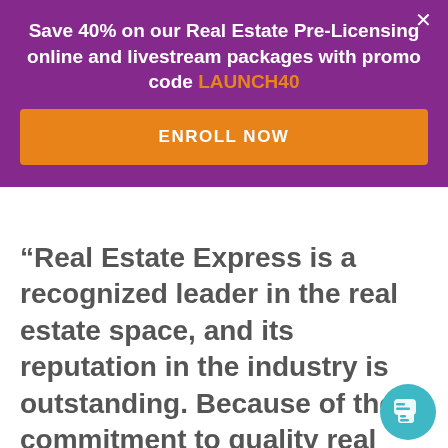Save 40% on our Real Estate Pre-Licensing online and livestream packages with promo code LAUNCH40
ENROLL NOW
“Real Estate Express is a recognized leader in the real estate space, and its reputation in the industry is outstanding. Because of their commitment to quality real